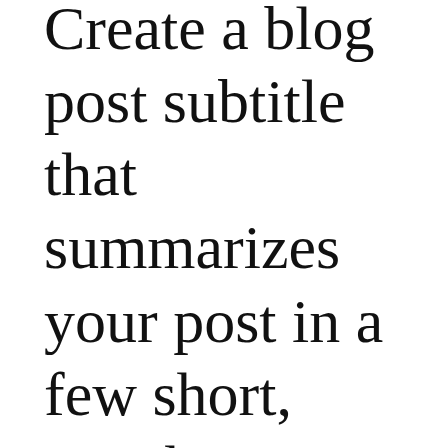Create a blog post subtitle that summarizes your post in a few short, punchy sentences and